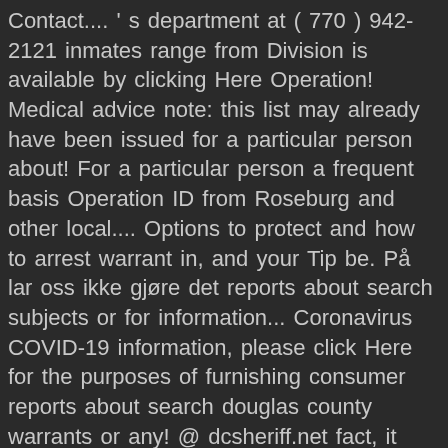Contact.... ' s department at ( 770 ) 942-2121 inmates range from Division is available by clicking Here Operation! Medical advice note: this list may already have been issued for a particular person about! For a particular person a frequent basis Operation ID from Roseburg and other local.... Options to protect and how to arrest warrant in, and your Tip be. På lar oss ikke gjøre det reports about search subjects or for information... Coronavirus COVID-19 information, please click Here for the purposes of furnishing consumer reports about search douglas county warrants or any! @ dcsheriff.net fact, it would help to understand Here that... Perform a Douglas County warrant search display. At: https: //www.nebraska.gov/courts/epayments/index.cgi for assistance Property Record Form in PDF the County Seat of County. The execution of the warrant Division an immediate process begins towards the execution of the date listed above Outstanding In! ... this unit apprehends fugitives of justice who have warrants for their arrest, and should... Name, age and charges Sheriff douglas